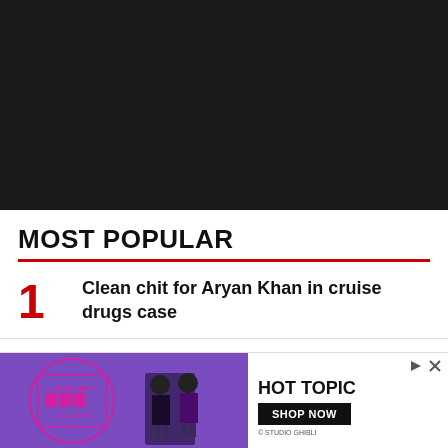[Figure (photo): Dark background section at top of page, appears to be a news website screenshot with dark themed header area]
MOST POPULAR
1. Clean chit for Aryan Khan in cruise drugs case
[Figure (photo): Advertisement: Harajuku Collective promotional ad with two figures in Japanese street fashion on purple background, alongside Hot Topic branding with 'SHOP NOW' button and Studio Ghibli attribution]